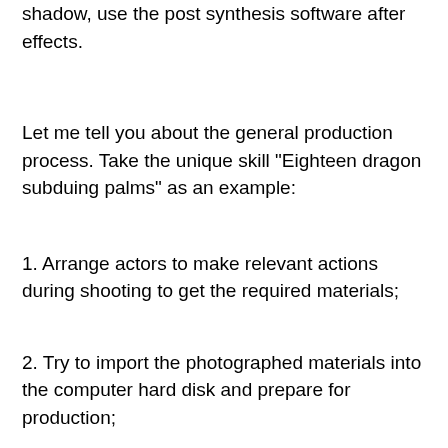shadow, use the post synthesis software after effects.
Let me tell you about the general production process. Take the unique skill "Eighteen dragon subduing palms" as an example:
1. Arrange actors to make relevant actions during shooting to get the required materials;
2. Try to import the photographed materials into the computer hard disk and prepare for production;
3. Study with the special effects director or art director to explore what effect is more appropriate for each action, and get the production scheme. For example, when his arm draws a circle, a golden dragon appears where his palm